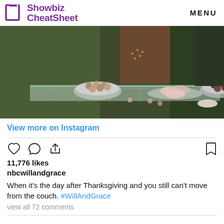Showbiz CheatSheet   MENU
[Figure (photo): Instagram photo showing a glass coffee table with bowls of chocolates and candies, green velvet couch in background with a person seated]
View more on Instagram
11,776 likes
nbcwillandgrace
When it's the day after Thanksgiving and you still can't move from the couch. #WillAndGrace
view all 72 comments